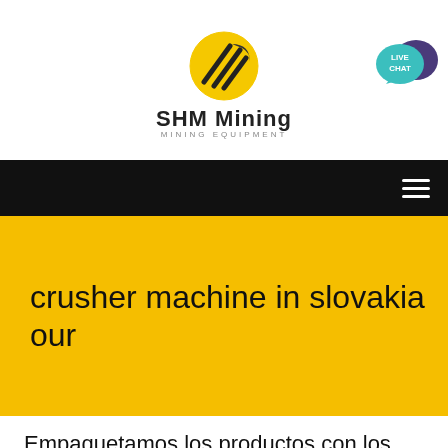[Figure (logo): SHM Mining logo: yellow oval with black diagonal lines, bold text 'SHM Mining' and subtitle 'MINING EQUIPMENT']
[Figure (illustration): Live Chat button: teal speech bubble with 'LIVE CHAT' text and dark purple speech bubble icon]
[Figure (other): Black navigation bar with white hamburger menu icon (three horizontal lines) on the right]
crusher machine in slovakia our
Empaquetamos los productos con los mejores servicios para que sea un